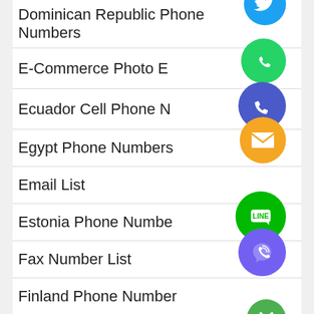Dominican Republic Phone Numbers
E-Commerce Photo Editing
Ecuador Cell Phone Numbers
Egypt Phone Numbers
Email List
Estonia Phone Numbers
Fax Number List
Finland Phone Number
France Phone Number